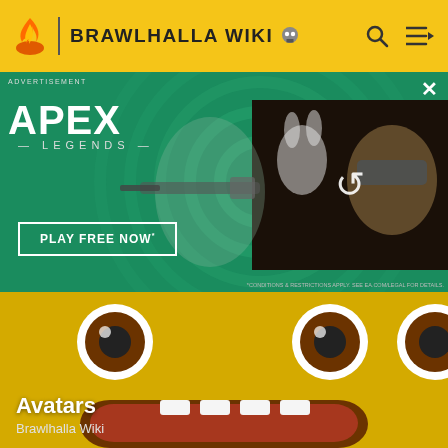BRAWLHALLA WIKI
[Figure (screenshot): Apex Legends advertisement banner with green background, character with sniper rifle, PLAY FREE NOW button, overlay image of character close-up with reload icon]
ADVERTISEMENT
[Figure (screenshot): Brawlhalla Wiki Avatars page hero image showing a yellow smiley face avatar character close-up]
Avatars
Brawlhalla Wiki